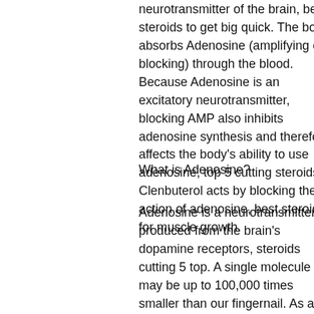neurotransmitter of the brain, best steroids to get big quick. The body absorbs Adenosine (amplifying or blocking) through the blood. Because Adenosine is an excitatory neurotransmitter, blocking AMP also inhibits adenosine synthesis and therefore affects the body's ability to use adenosine, top 5 cutting steroids. Clenbuterol acts by blocking the action of adenosine, best steroid for muscle growth.
What is Adenosine?
Adenosine is a neurotransmitter produced from the brain's dopamine receptors, steroids cutting 5 top. A single molecule may be up to 100,000 times smaller than our fingernail. As an example, Adenosine is 15 to 20 times larger in diameter than the nerve cells in our fingertips or fingertips of other creatures, best injectable steroid cycle for muscle gain. The smaller the Adenosine